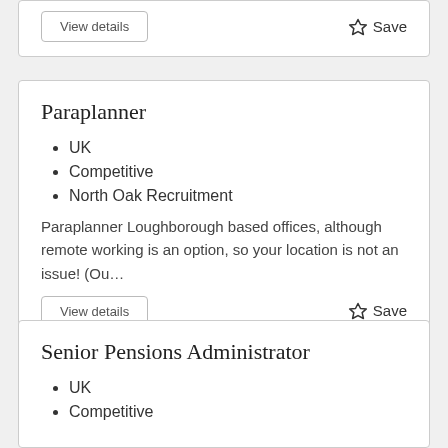View details
Save
Paraplanner
UK
Competitive
North Oak Recruitment
Paraplanner Loughborough based offices, although remote working is an option, so your location is not an issue! (Ou…
View details
Save
Senior Pensions Administrator
UK
Competitive